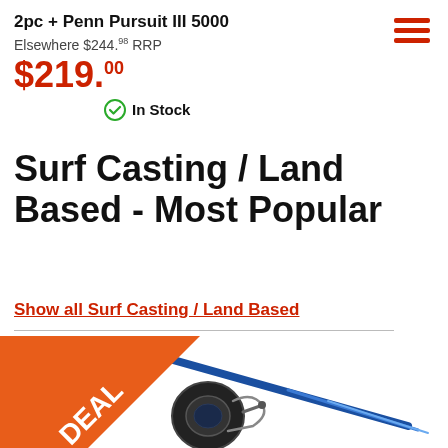2pc + Penn Pursuit III 5000
Elsewhere $244.98 RRP
$219.00
In Stock
Surf Casting / Land Based - Most Popular
Show all Surf Casting / Land Based
[Figure (photo): A blue surf casting rod and spinning reel combo with an orange DEAL banner in the corner]